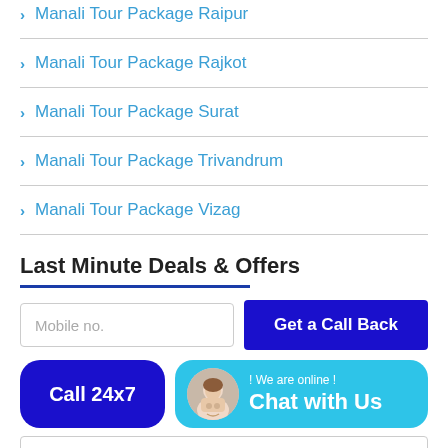Manali Tour Package Raipur
Manali Tour Package Rajkot
Manali Tour Package Surat
Manali Tour Package Trivandrum
Manali Tour Package Vizag
Last Minute Deals & Offers
[Figure (screenshot): A web form with a mobile number input field, a 'Get a Call Back' button, a 'Call 24x7' button, a live chat widget with an avatar and 'Chat with Us' text, and a search input field.]